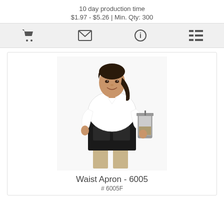10 day production time
$1.97 - $5.26 | Min. Qty: 300
[Figure (screenshot): Icon toolbar with shopping cart, email, info, and list icons on a light gray background]
[Figure (photo): A woman wearing a white polo shirt and a black waist apron, holding a stainless steel French press coffee maker]
Waist Apron - 6005
# 6005F